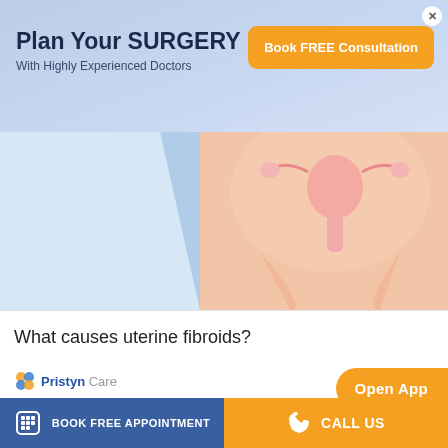Plan Your SURGERY
With Highly Experienced Doctors
Book FREE Consultation
[Figure (illustration): Anatomical illustration of female reproductive system / uterus area, showing pelvis and uterus from external view with light blue background on left side and peach/skin tones on right.]
What causes uterine fibroids?
[Figure (illustration): Pristyn Care logo followed by six uterus diagrams arranged in a 3x2 grid showing different types/locations of uterine fibroids. Each diagram is a pink illustrated uterus with fallopian tubes showing fibroids in different positions. Open App button overlaid top right.]
BOOK FREE APPOINTMENT    CALL US